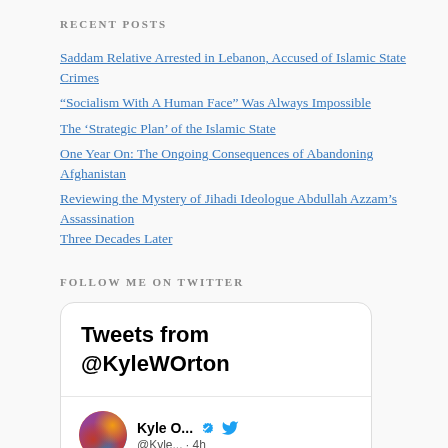RECENT POSTS
Saddam Relative Arrested in Lebanon, Accused of Islamic State Crimes
“Socialism With A Human Face” Was Always Impossible
The ‘Strategic Plan’ of the Islamic State
One Year On: The Ongoing Consequences of Abandoning Afghanistan
Reviewing the Mystery of Jihadi Ideologue Abdullah Azzam’s Assassination Three Decades Later
FOLLOW ME ON TWITTER
[Figure (screenshot): Twitter widget showing 'Tweets from @KyleWOrton' header and a tweet from Kyle O... (@Kyle... · 4h) with verified badge, replying to @KyleWOrton]